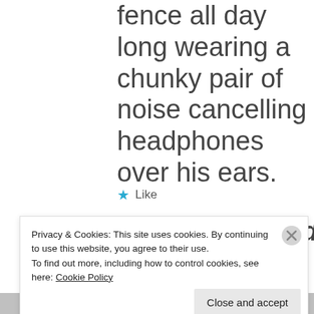fence all day long wearing a chunky pair of noise cancelling headphones over his ears.
★ Like
Magnus Cliffard , January
Privacy & Cookies: This site uses cookies. By continuing to use this website, you agree to their use.
To find out more, including how to control cookies, see here: Cookie Policy
Close and accept